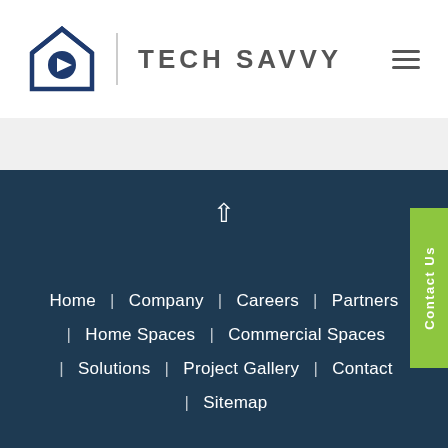[Figure (logo): Tech Savvy logo with house icon containing a play button, divider line, and TECH SAVVY text]
Home | Company | Careers | Partners | Home Spaces | Commercial Spaces | Solutions | Project Gallery | Contact | Sitemap